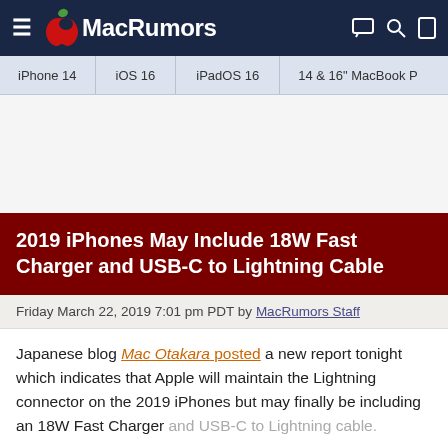MacRumors
iPhone 14 | iOS 16 | iPadOS 16 | 14 & 16" MacBook P
2019 iPhones May Include 18W Fast Charger and USB-C to Lightning Cable
Friday March 22, 2019 7:01 pm PDT by MacRumors Staff
Japanese blog Mac Otakara posted a new report tonight which indicates that Apple will maintain the Lightning connector on the 2019 iPhones but may finally be including an 18W Fast Charger and USB-C to Lightning cable.
In addition, the next iPhones seems to continue to